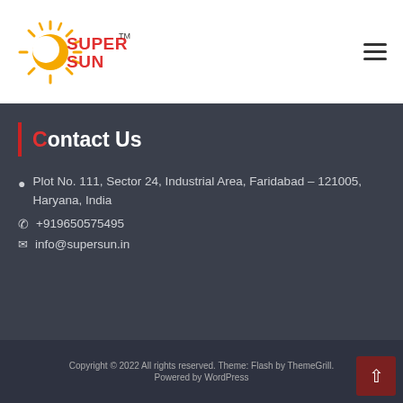[Figure (logo): SuperSun company logo with sun graphic and red/orange text, TM mark]
Contact Us
Plot No. 111, Sector 24, Industrial Area, Faridabad – 121005, Haryana, India
+919650575495
info@supersun.in
Copyright © 2022 All rights reserved. Theme: Flash by ThemeGrill. Powered by WordPress